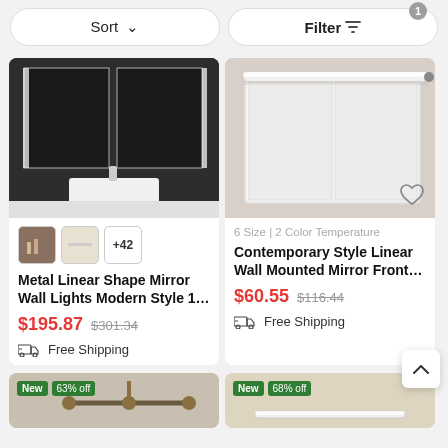Sort ∨
Filter ▽ 1
[Figure (photo): Bathroom with dark walls and a white rectangular sink with a backlit mirror above it]
+42 variant thumbnails
Metal Linear Shape Mirror Wall Lights Modern Style 1...
$195.87  $301.34
Free Shipping
[Figure (photo): White framed bathroom cabinet with a long LED strip light mounted on top]
6 Size | 2 Color Temperature
Contemporary Style Linear Wall Mounted Mirror Front...
$60.55  $116.44
Free Shipping
[Figure (photo): Partial view of a bathroom light fixture on a cream background, tagged New 63% off]
[Figure (photo): Partial view of a bathroom LED light on a beige background, tagged New 68% off]